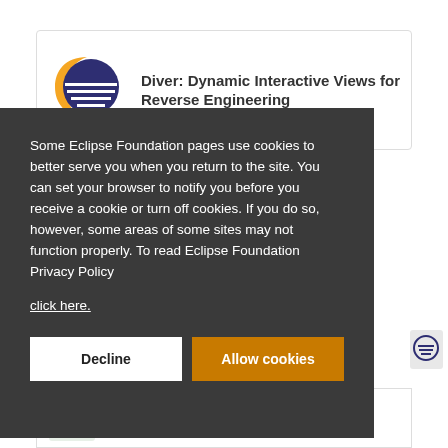[Figure (logo): Eclipse Diver logo: orange crescent with dark navy semicircle and horizontal white lines]
Diver: Dynamic Interactive Views for Reverse Engineering
Some Eclipse Foundation pages use cookies to better serve you when you return to the site. You can set your browser to notify you before you receive a cookie or turn off cookies. If you do so, however, some areas of some sites may not function properly. To read Eclipse Foundation Privacy Policy click here.
Decline
Allow cookies
[Figure (logo): Eclipse logo icon small circular badge]
IDE